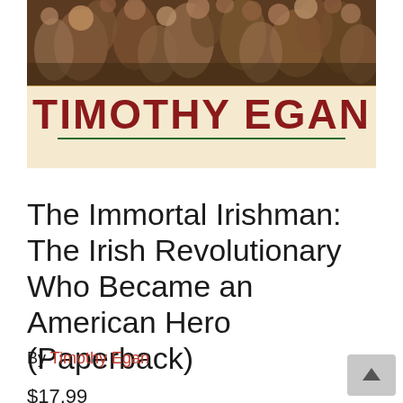[Figure (illustration): Book cover of 'The Immortal Irishman' by Timothy Egan. Top portion shows a painted crowd scene. Below that is a cream/tan band with large bold dark red uppercase text 'TIMOTHY EGAN' with a green underline.]
The Immortal Irishman: The Irish Revolutionary Who Became an American Hero (Paperback)
By Timothy Egan
$17.99